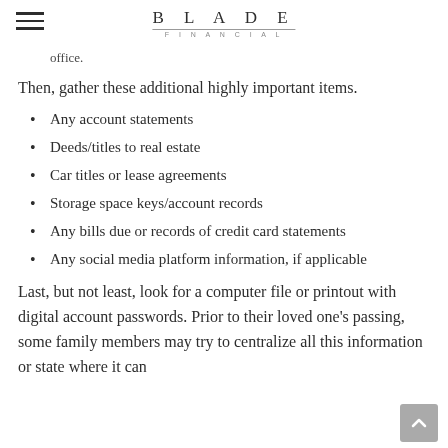BLADE FINANCIAL
office.
Then, gather these additional highly important items.
Any account statements
Deeds/titles to real estate
Car titles or lease agreements
Storage space keys/account records
Any bills due or records of credit card statements
Any social media platform information, if applicable
Last, but not least, look for a computer file or printout with digital account passwords. Prior to their loved one's passing, some family members may try to centralize all this information or state where it can